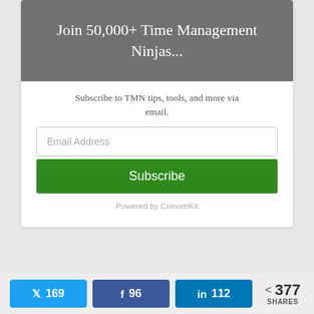[Figure (screenshot): Gray header banner with text 'Join 50,000+ Time Management Ninjas...']
Join 50,000+ Time Management Ninjas...
Subscribe to TMN tips, tools, and more via email.
Email Address
Subscribe
Powered by ConvertKit
169 (Twitter), 96 (Facebook), 112 (LinkedIn), 377 SHARES